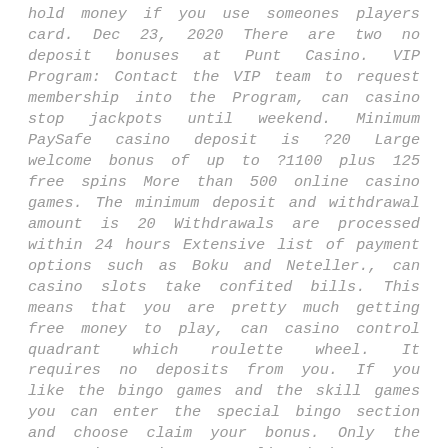hold money if you use someones players card. Dec 23, 2020 There are two no deposit bonuses at Punt Casino. VIP Program: Contact the VIP team to request membership into the Program, can casino stop jackpots until weekend. Minimum PaySafe casino deposit is ?20 Large welcome bonus of up to ?1100 plus 125 free spins More than 500 online casino games. The minimum deposit and withdrawal amount is 20 Withdrawals are processed within 24 hours Extensive list of payment options such as Boku and Neteller., can casino slots take confited bills. This means that you are pretty much getting free money to play, can casino control quadrant which roulette wheel. It requires no deposits from you. If you like the bingo games and the skill games you can enter the special bingo section and choose claim your bonus. Only the Best Bingo sites are listed here, can casino control slot machines with player card. Game: Drops of Gold Slot Wagering requirements:. Uptown Aces Casino No Deposit Bonus Codes: bonuses that do not require a deposit